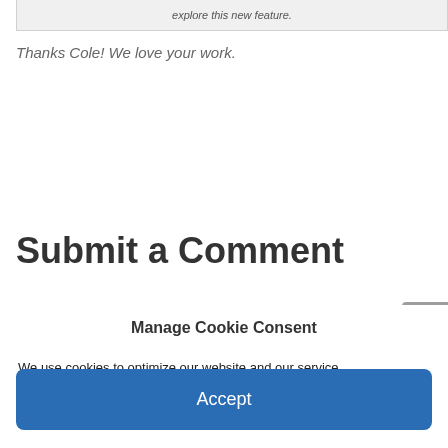explore this new feature.
Thanks Cole! We love your work.
Submit a Comment
Manage Cookie Consent
We use cookies to optimize our website and our service.
Accept